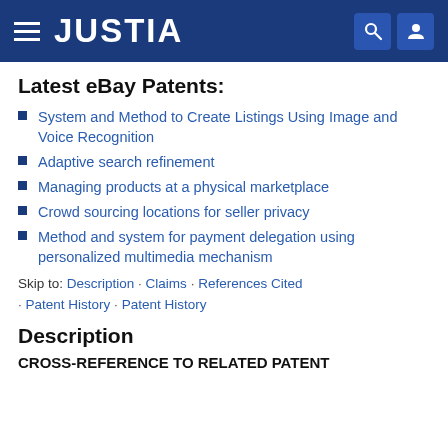JUSTIA
Latest eBay Patents:
System and Method to Create Listings Using Image and Voice Recognition
Adaptive search refinement
Managing products at a physical marketplace
Crowd sourcing locations for seller privacy
Method and system for payment delegation using personalized multimedia mechanism
Skip to: Description · Claims · References Cited · Patent History · Patent History
Description
CROSS-REFERENCE TO RELATED PATENT